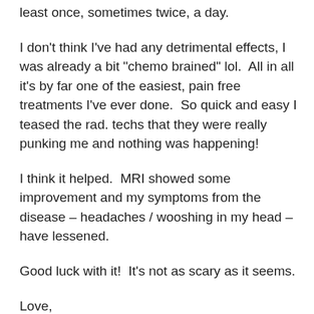least once, sometimes twice, a day.
I don't think I've had any detrimental effects, I was already a bit "chemo brained" lol.  All in all it's by far one of the easiest, pain free treatments I've ever done.  So quick and easy I teased the rad. techs that they were really punking me and nothing was happening!
I think it helped.  MRI showed some improvement and my symptoms from the disease – headaches / wooshing in my head – have lessened.
Good luck with it!  It's not as scary as it seems.
Love,